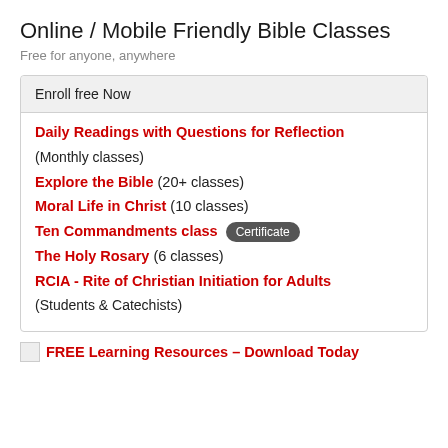Online / Mobile Friendly Bible Classes
Free for anyone, anywhere
Enroll free Now
Daily Readings with Questions for Reflection
(Monthly classes)
Explore the Bible (20+ classes)
Moral Life in Christ (10 classes)
Ten Commandments class Certificate
The Holy Rosary (6 classes)
RCIA - Rite of Christian Initiation for Adults
(Students & Catechists)
FREE Learning Resources – Download Today